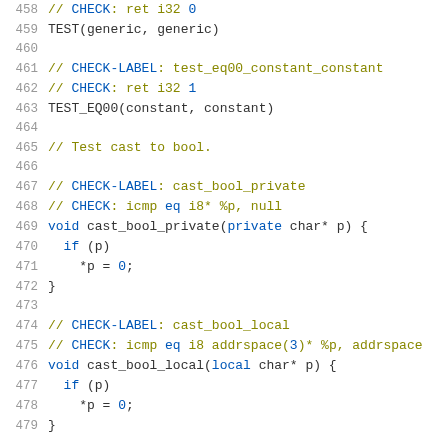Code listing lines 458-479 showing C/LLVM test code with CHECK annotations
458: // CHECK: ret i32 0
459: TEST(generic, generic)
460: (blank)
461: // CHECK-LABEL: test_eq00_constant_constant
462: // CHECK: ret i32 1
463: TEST_EQ00(constant, constant)
464: (blank)
465: // Test cast to bool.
466: (blank)
467: // CHECK-LABEL: cast_bool_private
468: // CHECK: icmp eq i8* %p, null
469: void cast_bool_private(private char* p) {
470:   if (p)
471:     *p = 0;
472: }
473: (blank)
474: // CHECK-LABEL: cast_bool_local
475: // CHECK: icmp eq i8 addrspace(3)* %p, addrspace
476: void cast_bool_local(local char* p) {
477:   if (p)
478:     *p = 0;
479: }